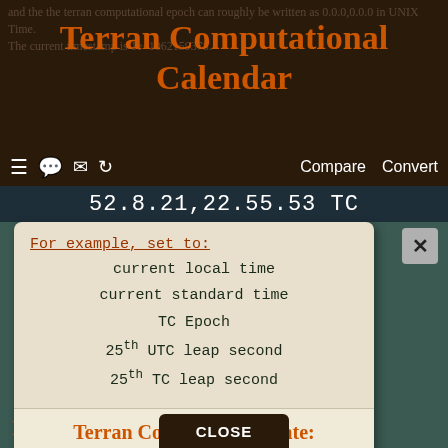Terran Computational Calendar
and the the terran computational epoch can roughly be written as 0.0.0,0.0.0 in UNIX Time. The current timestamp is 1e+1062159378.
52.8.21,22.55.53 TC
Compare  Convert
For example, set to:
current local time
current standard time
TC Epoch
25th UTC leap second
25th TC leap second
Terran Computational date:
9 . 0 . 10 , 0 . 0 . 0 TC
[year base]  [datemod]
UTC date:
Leap Days
CLOSE